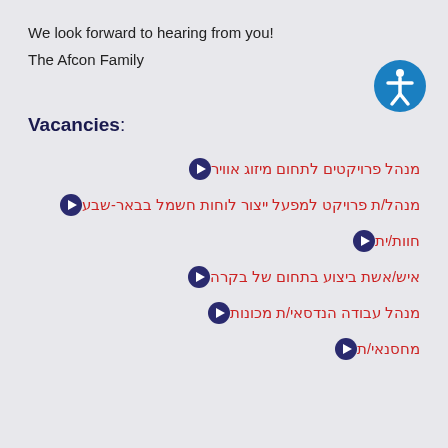We look forward to hearing from you!
The Afcon Family
Vacancies:
מנהל פרויקטים לתחום מיזוג אוויר
מנהל/ת פרויקט למפעל ייצור לוחות חשמל בבאר-שבע
חוות/ית
איש/אשת ביצוע בתחום של בקרה
מנהל עבודה הנדסאי/ת מכונות
מחסנאי/ת